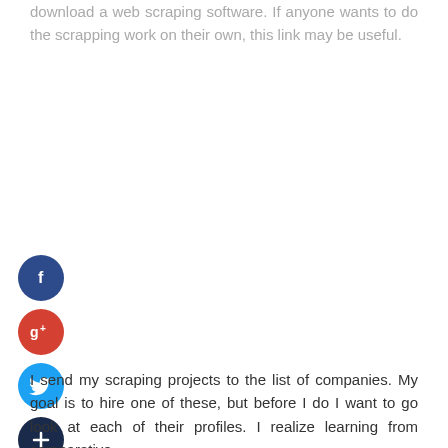download a web scraping software. If anyone wants to do the scrapping work on their own, this link may be useful.
[Figure (illustration): Four social media icon buttons stacked vertically: Facebook (dark blue), Google+ (red), Twitter (light blue), and a plus/share button (dark navy)]
I send my scraping projects to the list of companies. My goal is to hire one of these, but before I do I want to go look at each of their profiles. I realize learning from comparative